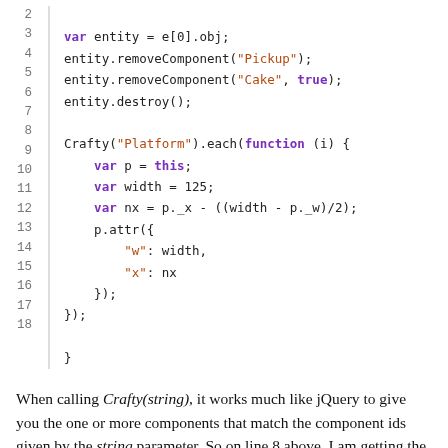[Figure (other): Code snippet in JavaScript showing lines 2-18 with syntax highlighting. Contains entity manipulation and Crafty platform component iteration.]
When calling Crafty(string), it works much like jQuery to give you the one or more components that match the component ids given by the string parameter. So on line 8 above, I am getting the set of all the Platform entities and executing a function on each of them. In that function, I give them a new width and re-center them based on their new size by